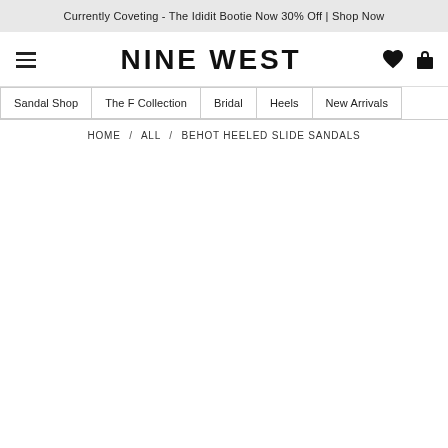Currently Coveting - The Ididit Bootie Now 30% Off | Shop Now
[Figure (logo): Nine West logo with hamburger menu icon on left and heart/bag icons on right]
Sandal Shop | The F Collection | Bridal | Heels | New Arrivals
HOME / ALL / BEHOT HEELED SLIDE SANDALS